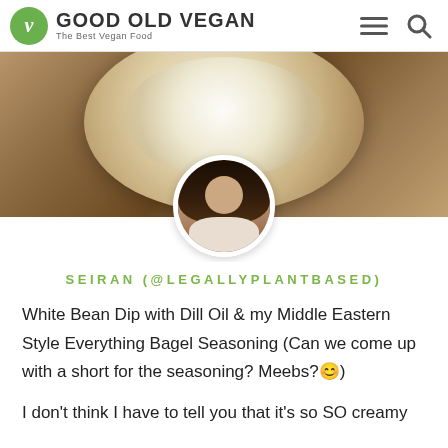GOOD OLD VEGAN – The Best Vegan Food
[Figure (photo): Hero food photo showing a white bowl with dip topped with cream, red berries/seeds and herbs; overlaid with circular profile photo of a woman with long dark hair holding a bowl]
SEIRAN (@LEGALLYPLANTBASED)
White Bean Dip with Dill Oil & my Middle Eastern Style Everything Bagel Seasoning (Can we come up with a short for the seasoning? Meebs?😊)
I don't think I have to tell you that it's so SO creamy